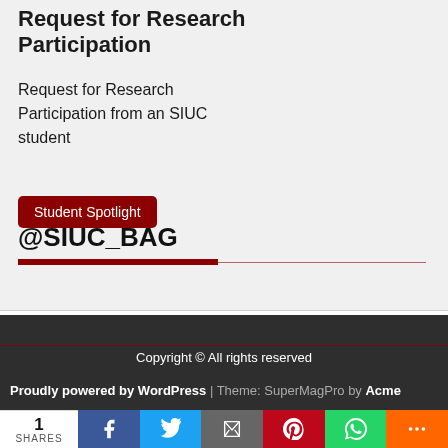Request for Research Participation
Request for Research Participation from an SIUC student
Student Spotlight
@SIUC_BAG
Copyright © All rights reserved
Proudly powered by WordPress | Theme: SuperMagPro by Acme
1 SHARES